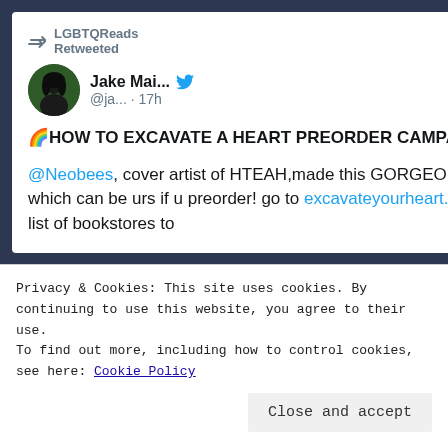[Figure (screenshot): Twitter/social media screenshot showing a tweet by Jake Mai... (@ja...) retweeted by LGBTQReads, posted 17h ago. The tweet reads: 🌈HOW TO EXCAVATE A HEART PREORDER CAMPAIGN🌈 @Neobees, cover artist of HTEAH,made this GORGEOUS print which can be urs if u preorder! go to excavateyourheart.com for a list of bookstores to...]
Privacy & Cookies: This site uses cookies. By continuing to use this website, you agree to their use.
To find out more, including how to control cookies, see here: Cookie Policy
Close and accept